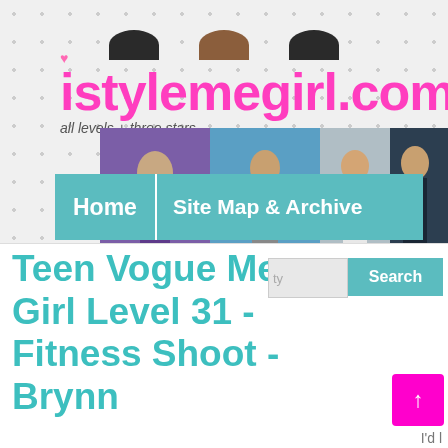istylemegirl.com
all levels + three stars
[Figure (screenshot): Navigation banner with fashion avatar images]
Home | Site Map & Archive
Teen Vogue Me Girl Level 31 - Fitness Shoot - Brynn
ty  Search
↑
I'd l